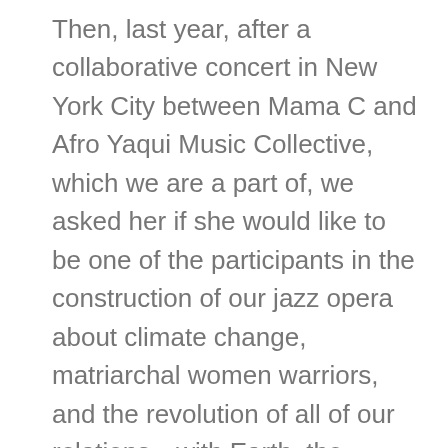Then, last year, after a collaborative concert in New York City between Mama C and Afro Yaqui Music Collective, which we are a part of, we asked her if she would like to be one of the participants in the construction of our jazz opera about climate change, matriarchal women warriors, and the revolution of all of our relations—with Earth, the climate, the very concept of gender. She agreed, creating a character for the show based on the mulberry tree, her favorite. At one point, she told us about her love for music. It is the music of Kansas City, the historical continuum of blues, jazz, and gospel, which contains rhythms of resistance that have animated struggle and self-determination for